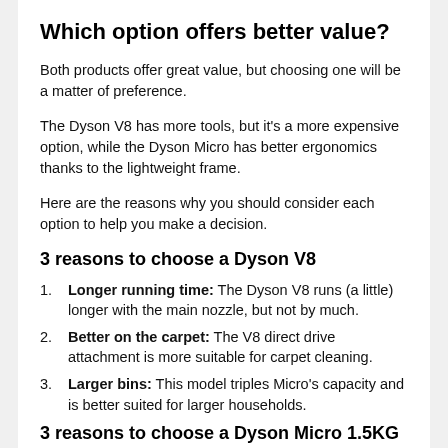Which option offers better value?
Both products offer great value, but choosing one will be a matter of preference.
The Dyson V8 has more tools, but it's a more expensive option, while the Dyson Micro has better ergonomics thanks to the lightweight frame.
Here are the reasons why you should consider each option to help you make a decision.
3 reasons to choose a Dyson V8
Longer running time: The Dyson V8 runs (a little) longer with the main nozzle, but not by much.
Better on the carpet: The V8 direct drive attachment is more suitable for carpet cleaning.
Larger bins: This model triples Micro's capacity and is better suited for larger households.
3 reasons to choose a Dyson Micro 1.5KG